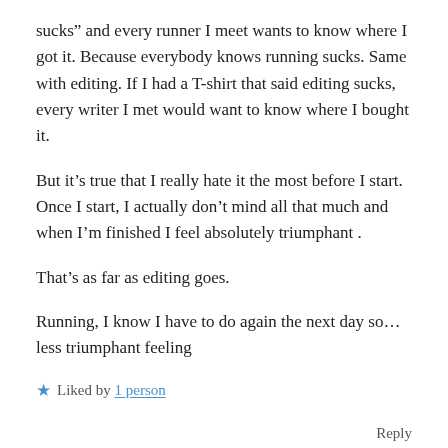sucks” and every runner I meet wants to know where I got it. Because everybody knows running sucks. Same with editing. If I had a T-shirt that said editing sucks, every writer I met would want to know where I bought it.
But it’s true that I really hate it the most before I start. Once I start, I actually don’t mind all that much and when I’m finished I feel absolutely triumphant .
That’s as far as editing goes.
Running, I know I have to do again the next day so... less triumphant feeling
★ Liked by 1 person
Reply